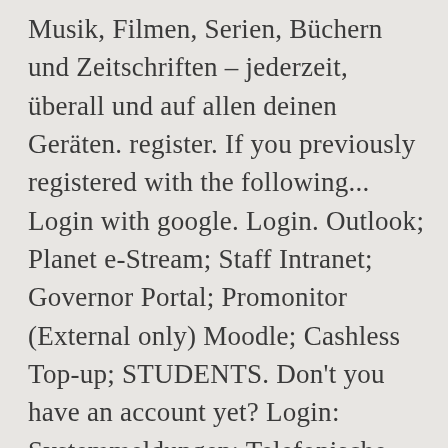Musik, Filmen, Serien, Büchern und Zeitschriften – jederzeit, überall und auf allen deinen Geräten. register. If you previously registered with the following... Login with google. Login. Outlook; Planet e-Stream; Staff Intranet; Governor Portal; Promonitor (External only) Moodle; Cashless Top-up; STUDENTS. Don't you have an account yet? Login: Systemmeldungen: Telefonische Unterstützung: Um mit dem Portal und seinen Applikationen arbeiten zu können, müssen Sie sich authentifizieren. We have a nice garden and are about a 10 minute walk from Woolwich Arsenal station 0208 319 9742 Please enter this information below and click login to proceed.